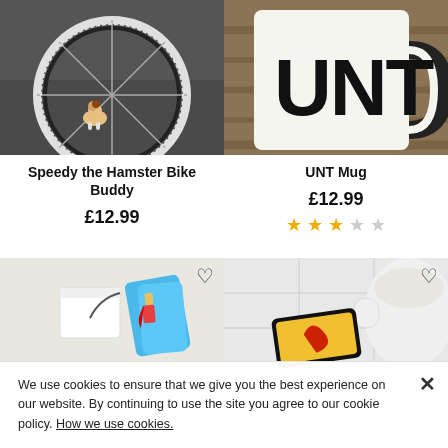[Figure (photo): Photo of a hamster toy near a bicycle wheel on asphalt pavement]
[Figure (photo): Photo of a white mug with large black letters UNT on a wooden surface]
Speedy the Hamster Bike Buddy
UNT Mug
£12.99
£12.99
3 out of 5 stars rating
[Figure (photo): Photo of colorful superhero socks with a gift box]
[Figure (photo): Photo of a smartphone near a toilet with a white roll holder]
We use cookies to ensure that we give you the best experience on our website. By continuing to use the site you agree to our cookie policy. How we use cookies.